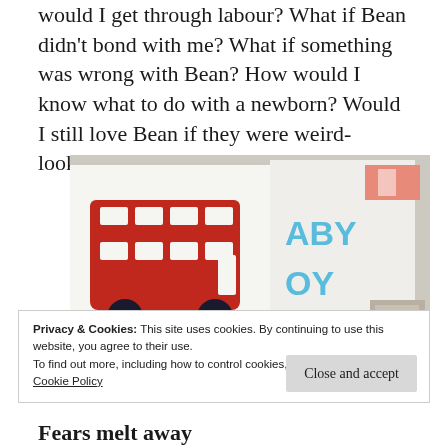would I get through labour? What if Bean didn't bond with me? What if something was wrong with Bean? How would I know what to do with a newborn? Would I still love Bean if they were weird-looking?
[Figure (photo): Photo showing greeting cards on a surface: a red London double-decker bus illustration card on the left, and a blue 'BABY BOY' text card on the right, with other cards partially visible.]
Privacy & Cookies: This site uses cookies. By continuing to use this website, you agree to their use.
To find out more, including how to control cookies, see here:
Cookie Policy
Fears melt away